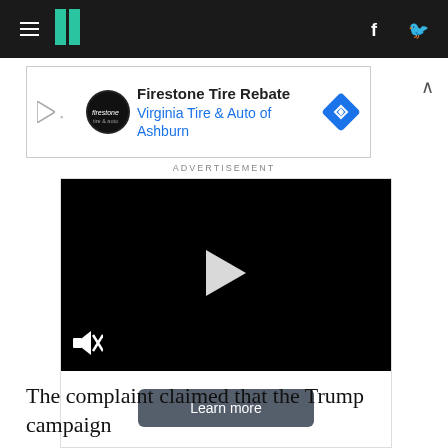HuffPost navigation bar with hamburger menu, logo, facebook and twitter icons
[Figure (other): Advertisement banner for Firestone Tire Rebate - Virginia Tire & Auto of Ashburn]
ADVERTISEMENT
[Figure (other): Embedded video player with black screen, play button, mute icon, and Learn more button]
The complaint claimed that the Trump campaign